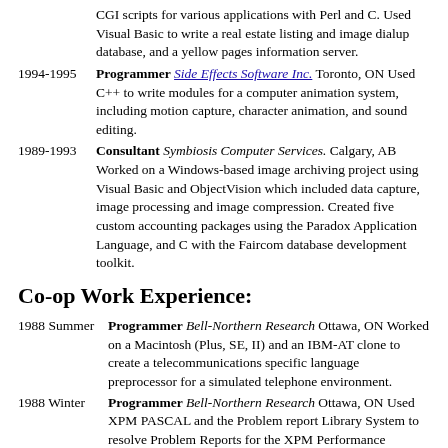CGI scripts for various applications with Perl and C. Used Visual Basic to write a real estate listing and image dialup database, and a yellow pages information server.
1994-1995 Programmer Side Effects Software Inc. Toronto, ON Used C++ to write modules for a computer animation system, including motion capture, character animation, and sound editing.
1989-1993 Consultant Symbiosis Computer Services. Calgary, AB Worked on a Windows-based image archiving project using Visual Basic and ObjectVision which included data capture, image processing and image compression. Created five custom accounting packages using the Paradox Application Language, and C with the Faircom database development toolkit.
Co-op Work Experience:
1988 Summer Programmer Bell-Northern Research Ottawa, ON Worked on a Macintosh (Plus, SE, II) and an IBM-AT clone to create a telecommunications specific language preprocessor for a simulated telephone environment.
1988 Winter Programmer Bell-Northern Research Ottawa, ON Used XPM PASCAL and the Problem report Library System to resolve Problem Reports for the XPM Performance Processor. All resolving was according to Senior Office...